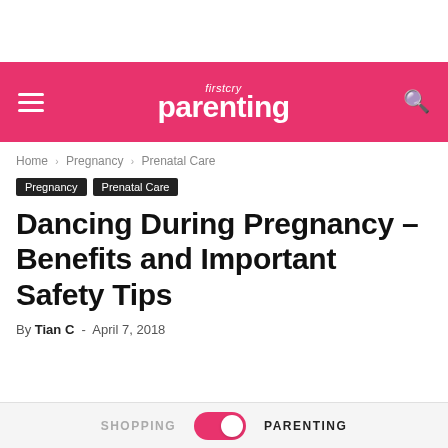firstcry Parenting
Home › Pregnancy › Prenatal Care
Pregnancy   Prenatal Care
Dancing During Pregnancy – Benefits and Important Safety Tips
By Tian C  -  April 7, 2018
SHOPPING   PARENTING